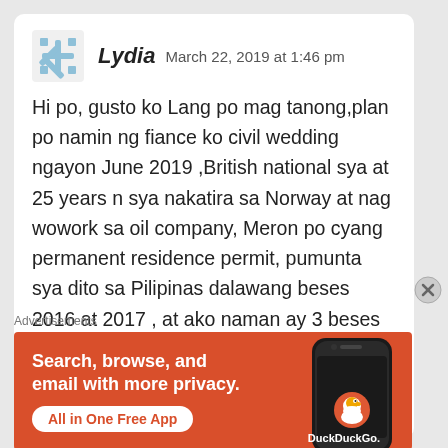Lydia  March 22, 2019 at 1:46 pm
Hi po, gusto ko Lang po mag tanong,plan po namin ng fiance ko civil wedding ngayon June 2019 ,British national sya at 25 years n sya nakatira sa Norway at nag wowork sa oil company, Meron po cyang permanent residence permit, pumunta sya dito sa Pilipinas dalawang beses 2016 at 2017 , at ako naman ay 3 beses visit dyan sa Norway kasama kame , ano po ba mga kailangan gawin at mga dokumento
Advertisements
[Figure (infographic): DuckDuckGo advertisement banner with orange background. Text: 'Search, browse, and email with more privacy. All in One Free App'. Shows a phone with DuckDuckGo logo.]